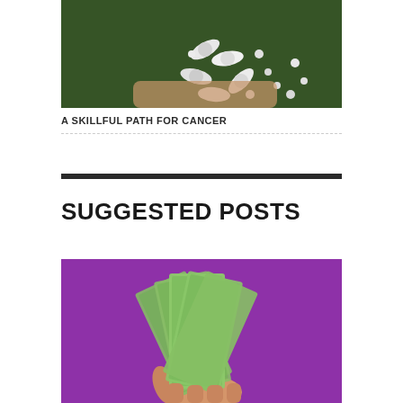[Figure (photo): A hand holding pills/capsules spilling on a green surface]
A SKILLFUL PATH FOR CANCER
[Figure (photo): A hand holding a fan of US $100 dollar bills against a purple background]
SUGGESTED POSTS